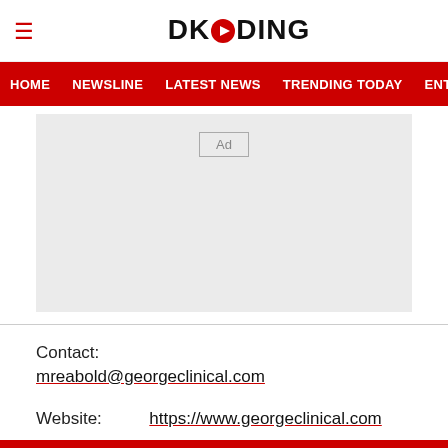DKODING
HOME   NEWSLINE   LATEST NEWS   TRENDING TODAY   ENT
[Figure (other): Advertisement placeholder box with 'Ad' label]
Contact:
mreabold@georgeclinical.com
Website:   https://www.georgeclinical.com